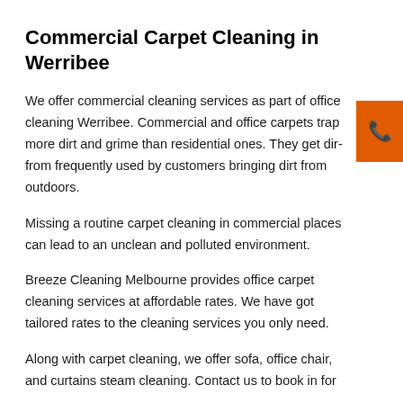Commercial Carpet Cleaning in Werribee
We offer commercial cleaning services as part of office cleaning Werribee. Commercial and office carpets trap more dirt and grime than residential ones. They get dirty from frequently used by customers bringing dirt from outdoors.
Missing a routine carpet cleaning in commercial places can lead to an unclean and polluted environment.
Breeze Cleaning Melbourne provides office carpet cleaning services at affordable rates. We have got tailored rates to the cleaning services you only need.
Along with carpet cleaning, we offer sofa, office chair, and curtains steam cleaning. Contact us to book in for